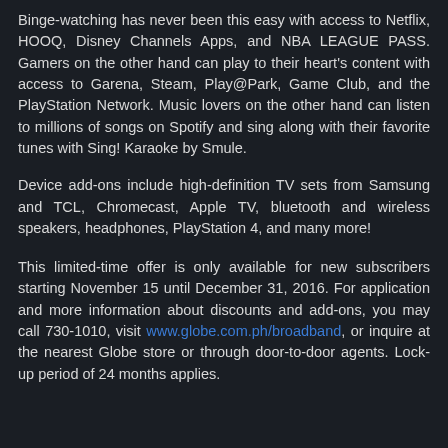Binge-watching has never been this easy with access to Netflix, HOOQ, Disney Channels Apps, and NBA LEAGUE PASS. Gamers on the other hand can play to their heart's content with access to Garena, Steam, Play@Park, Game Club, and the PlayStation Network. Music lovers on the other hand can listen to millions of songs on Spotify and sing along with their favorite tunes with Sing! Karaoke by Smule.
Device add-ons include high-definition TV sets from Samsung and TCL, Chromecast, Apple TV, bluetooth and wireless speakers, headphones, PlayStation 4, and many more!
This limited-time offer is only available for new subscribers starting November 15 until December 31, 2016. For application and more information about discounts and add-ons, you may call 730-1010, visit www.globe.com.ph/broadband, or inquire at the nearest Globe store or through door-to-door agents. Lock-up period of 24 months applies.